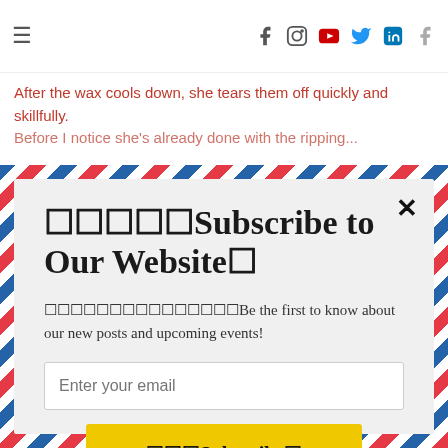☰  [social icons: facebook, instagram, youtube, twitter, linkedin, facebook]
After the wax cools down, she tears them off quickly and skillfully.
Before I notice she's already done with the ripping...
📧📧📧📧📧Subscribe to Our Website📧
📧📧📧📧📧📧📧📧📧📧📧📧📧📧📧Be the first to know about our new posts and upcoming events!
Enter your email
📧📧📧Subscribe📧
powered by MailMunch